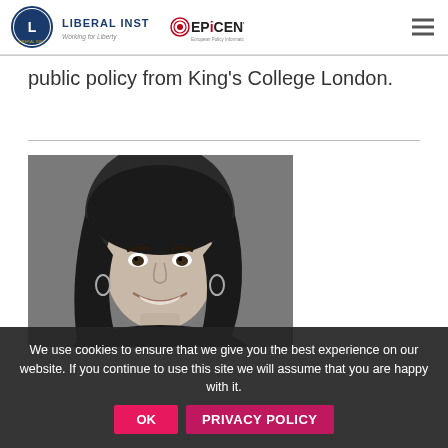Liberal Institute / EPiCENTER — Working for Liberty
public policy from King's College London.
[Figure (photo): Black and white portrait photo of a smiling young woman with long dark hair, wearing dark clothing and hoop earrings.]
We use cookies to ensure that we give you the best experience on our website. If you continue to use this site we will assume that you are happy with it. OK  PRIVACY POLICY